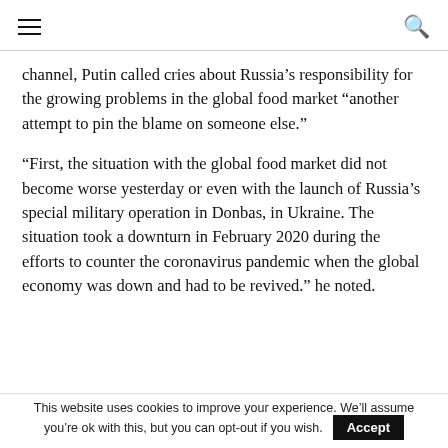[hamburger menu icon] [search icon]
channel, Putin called cries about Russia’s responsibility for the growing problems in the global food market “another attempt to pin the blame on someone else.”
“First, the situation with the global food market did not become worse yesterday or even with the launch of Russia’s special military operation in Donbas, in Ukraine. The situation took a downturn in February 2020 during the efforts to counter the coronavirus pandemic when the global economy was down and had to be revived.” he noted.
This website uses cookies to improve your experience. We’ll assume you’re ok with this, but you can opt-out if you wish. Accept